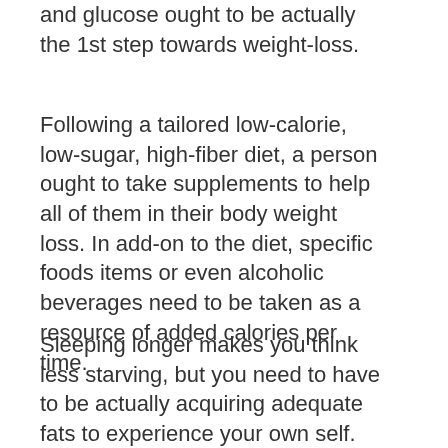and glucose ought to be actually the 1st step towards weight-loss.
Following a tailored low-calorie, low-sugar, high-fiber diet, a person ought to take supplements to help all of them in their body weight loss. In add-on to the diet, specific foods items or even alcoholic beverages need to be taken as a resource of added calories per time.
Sleeping longer makes you think less starving, but you need to have to be actually acquiring adequate fats to experience your own self. Adding a bed time snack food to your every night dish program can aid you keep your weight reduction if you choose